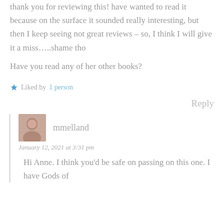thank you for reviewing this! have wanted to read it because on the surface it sounded really interesting, but then I keep seeing not great reviews – so, I think I will give it a miss…..shame tho
Have you read any of her other books?
Liked by 1 person
Reply
mmelland
January 12, 2021 at 3:31 pm
Hi Anne. I think you'd be safe on passing on this one. I have Gods of